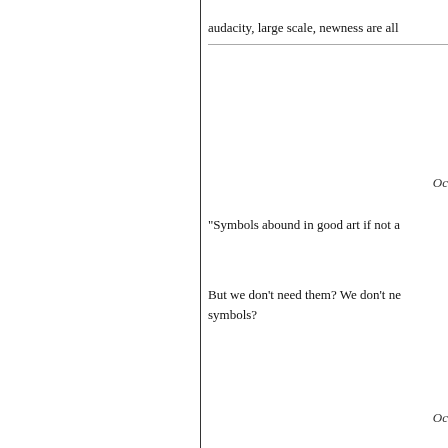audacity, large scale, newness are all
Oc
"Symbols abound in good art if not a
But we don't need them? We don't ne symbols?
Oc